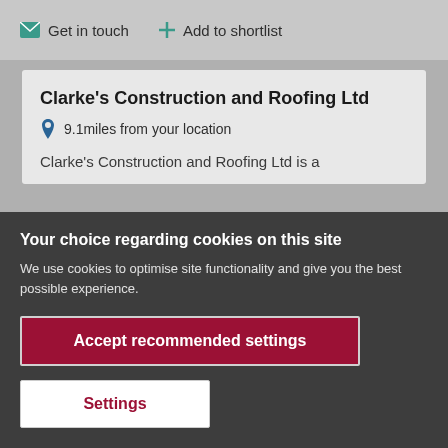Get in touch   Add to shortlist
Clarke's Construction and Roofing Ltd
9.1miles from your location
Clarke's Construction and Roofing Ltd is a
Your choice regarding cookies on this site
We use cookies to optimise site functionality and give you the best possible experience.
Accept recommended settings
Settings